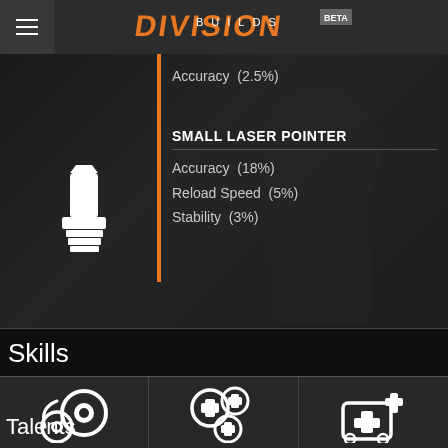[Figure (screenshot): Division Builds BETA app header with hamburger menu and orange/white logo]
Accuracy  (2.5%)
SMALL LASER POINTER
Accuracy  (18%)
Reload Speed  (5%)
Stability  (3%)
Skills
[Figure (screenshot): Three skill/talent icons in bottom tab bar: eye/recon icon, medical cross plus icons, and medkit with cross icon]
Talents